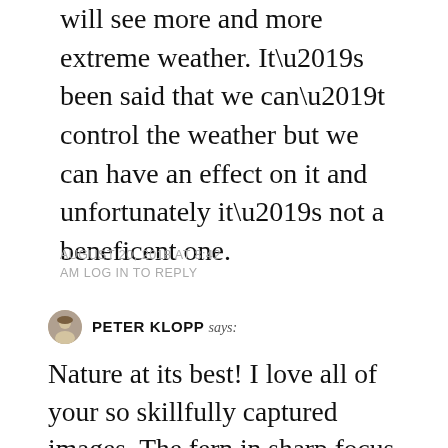will see more and more extreme weather. It’s been said that we can’t control the weather but we can have an effect on it and unfortunately it’s not a beneficent one.
AUGUST 20, 2018 AT 8:42 AM LOG IN TO REPLY
PETER KLOPP says:
Nature at its best! I love all of your so skillfully captured images. The fern in sharp focus with the waterfall in the background has the greatest